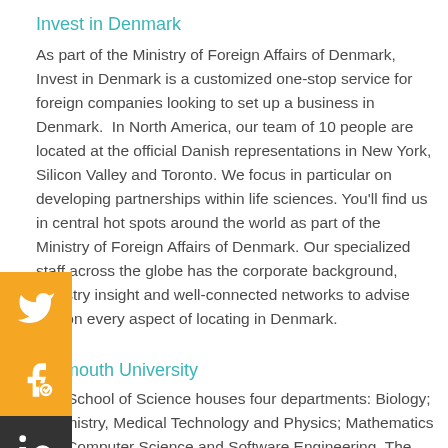Invest in Denmark
As part of the Ministry of Foreign Affairs of Denmark, Invest in Denmark is a customized one-stop service for foreign companies looking to set up a business in Denmark.  In North America, our team of 10 people are located at the official Danish representations in New York, Silicon Valley and Toronto. We focus in particular on developing partnerships within life sciences. You'll find us in central hot spots around the world as part of the Ministry of Foreign Affairs of Denmark. Our specialized staff across the globe has the corporate background, industry insight and well-connected networks to advise you on every aspect of locating in Denmark.
…nmouth University
The School of Science houses four departments: Biology; Chemistry, Medical Technology and Physics; Mathematics and Computer Science and Software Engineering. The School is also the home for two Centers of Distinction, the Urban Coast Institute (UCI) and Rapid Response Institute (RRI). The School of Science offers undergraduate degree programs in biology,